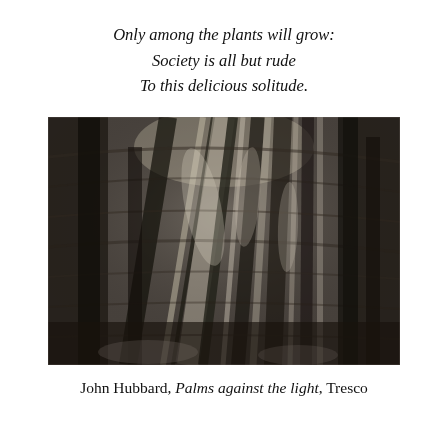Only among the plants will grow:
Society is all but rude
To this delicious solitude.
[Figure (illustration): Black and white charcoal or graphite drawing of dense tropical palms and vegetation, with strong contrasts of light and shadow showing palm fronds and tree trunks. The artwork has an expressive, gestural quality.]
John Hubbard, Palms against the light, Tresco